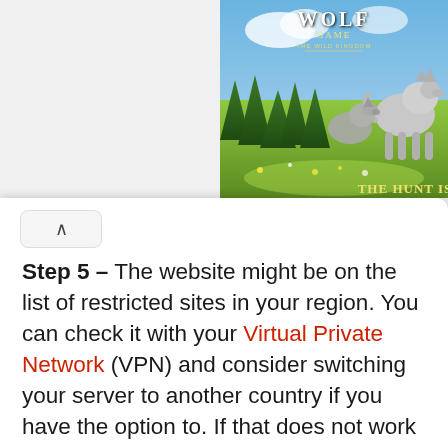[Figure (illustration): Wolf Game: The Wild Kingdom advertisement banner showing wolves in a meadow with text 'THE HUNT IS']
Step 5 – The website might be on the list of restricted sites in your region. You can check it with your Virtual Private Network (VPN) and consider switching your server to another country if you have the option to. If that does not work either, you can switch off VPN completely.